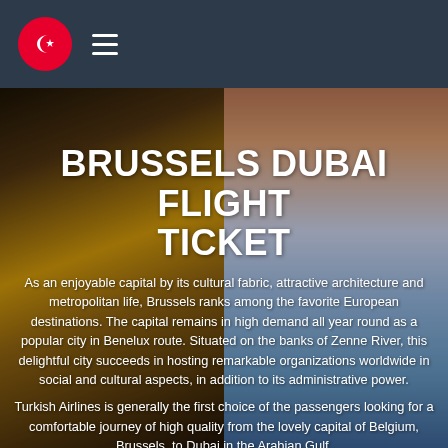Turkish Airlines logo and navigation menu
[Figure (photo): Split composite hero image: left half shows Brussels Grand Place gothic architecture with golden stone, right half shows Dubai modern skyline with skyscrapers along waterfront, pink and blue sky]
BRUSSELS DUBAI FLIGHT TICKET
As an enjoyable capital by its cultural fabric, attractive architecture and metropolitan life, Brussels ranks among the favorite European destinations. The capital remains in high demand all year round as a popular city in Benelux route. Situated on the banks of Zenne River, this delightful city succeeds in hosting remarkable organizations worldwide in social and cultural aspects, in addition to its administrative power.
Turkish Airlines is generally the first choice of the passengers looking for a comfortable journey of high quality from the lovely capital of Belgium, Brussels, to Dubai in the Arabian Gulf.